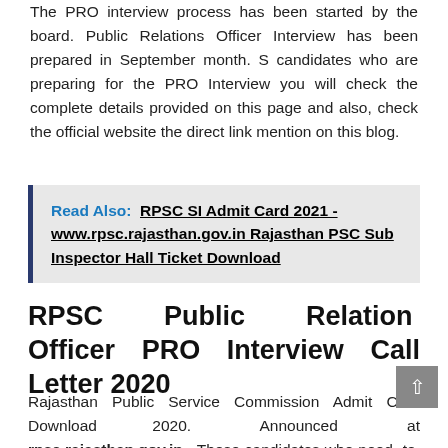The PRO interview process has been started by the board. Public Relations Officer Interview has been prepared in September month. S candidates who are preparing for the PRO Interview you will check the complete details provided on this page and also, check the official website the direct link mention on this blog.
Read Also: RPSC SI Admit Card 2021 - www.rpsc.rajasthan.gov.in Rajasthan PSC Sub Inspector Hall Ticket Download
RPSC Public Relation Officer PRO Interview Call Letter 2020
Rajasthan Public Service Commission Admit Card Download 2020. Announced at rpsc.rajasthan.gov.in. Those candidates who need to study in Rajasthan Public Service